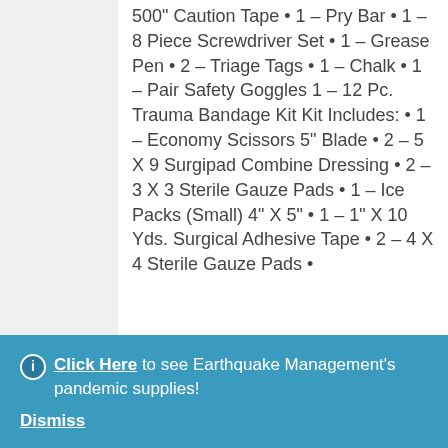500" Caution Tape • 1 – Pry Bar • 1 – 8 Piece Screwdriver Set • 1 – Grease Pen • 2 – Triage Tags • 1 – Chalk • 1 – Pair Safety Goggles 1 – 12 Pc. Trauma Bandage Kit Kit Includes: • 1 – Economy Scissors 5" Blade • 2 – 5 X 9 Surgipad Combine Dressing • 2 – 3 X 3 Sterile Gauze Pads • 1 – Ice Packs (Small) 4" X 5" • 1 – 1" X 10 Yds. Surgical Adhesive Tape • 2 – 4 X 4 Sterile Gauze Pads •
Click Here to see Earthquake Management's pandemic supplies! Dismiss